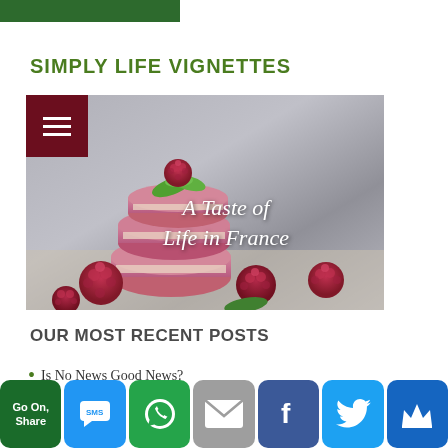SIMPLY LIFE VIGNETTES
[Figure (photo): Pink macarons stacked with fresh raspberries on a grey background, with cursive white text overlay reading 'A Taste of Life in France']
OUR MOST RECENT POSTS
Is No News Good News?
Go On, Share | SMS | WhatsApp | Email | Facebook | Twitter | Crown